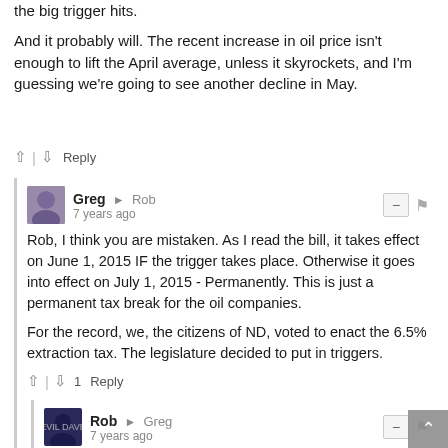the big trigger hits.
And it probably will. The recent increase in oil price isn't enough to lift the April average, unless it skyrockets, and I'm guessing we're going to see another decline in May.
↑ | ↓  Reply
Greg → Rob
7 years ago
Rob, I think you are mistaken. As I read the bill, it takes effect on June 1, 2015 IF the trigger takes place. Otherwise it goes into effect on July 1, 2015 - Permanently. This is just a permanent tax break for the oil companies.

For the record, we, the citizens of ND, voted to enact the 6.5% extraction tax. The legislature decided to put in triggers.
↑ | ↓ 1  Reply
Rob → Greg
7 years ago
Nope, it triggers on the trigger as was explained on the